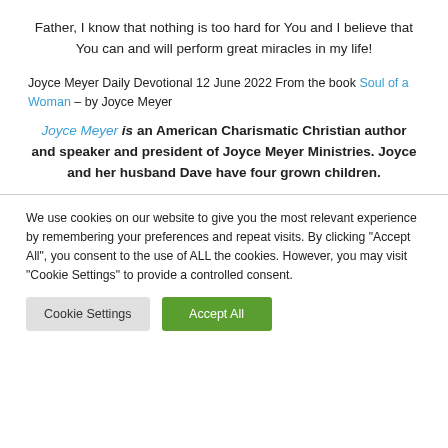Father, I know that nothing is too hard for You and I believe that You can and will perform great miracles in my life!
Joyce Meyer Daily Devotional 12 June 2022 From the book Soul of a Woman – by Joyce Meyer
Joyce Meyer is an American Charismatic Christian author and speaker and president of Joyce Meyer Ministries. Joyce and her husband Dave have four grown children.
We use cookies on our website to give you the most relevant experience by remembering your preferences and repeat visits. By clicking "Accept All", you consent to the use of ALL the cookies. However, you may visit "Cookie Settings" to provide a controlled consent.